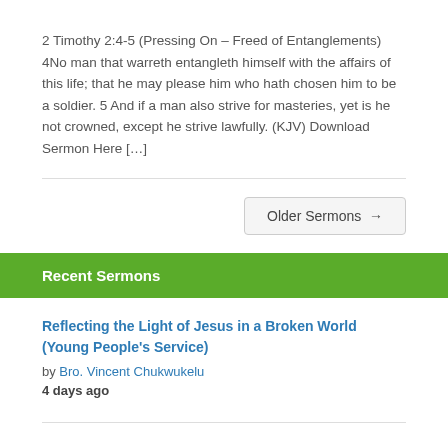2 Timothy 2:4-5 (Pressing On – Freed of Entanglements) 4No man that warreth entangleth himself with the affairs of this life; that he may please him who hath chosen him to be a soldier. 5 And if a man also strive for masteries, yet is he not crowned, except he strive lawfully. (KJV) Download Sermon Here […]
Older Sermons →
Recent Sermons
Reflecting the Light of Jesus in a Broken World (Young People's Service)
by Bro. Vincent Chukwukelu
4 days ago